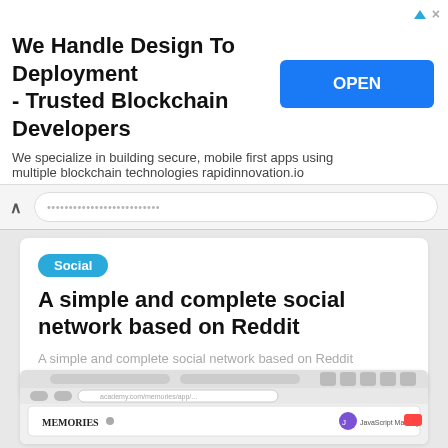[Figure (screenshot): Advertisement banner: 'We Handle Design To Deployment - Trusted Blockchain Developers' with OPEN button. Text: 'We specialize in building secure, mobile first apps using multiple blockchain technologies rapidinnovation.io']
[Figure (screenshot): Navigation bar with back chevron and blurred URL bar showing partial URL text]
Social
A simple and complete social network based on Reddit
A simple and complete social network based on Reddit
23 DECEMBER 2021
[Figure (screenshot): Browser screenshot of 'Memories' social web app showing navigation bar and four memory cards: Dubrovnik, Prague Castle, Forbidden City, The Louvre, with a sidebar for searching and creating memories.]